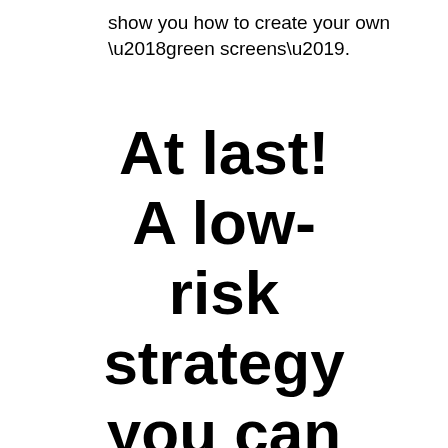show you how to create your own ‘green screens’.
At last! A low-risk strategy you can use to make su